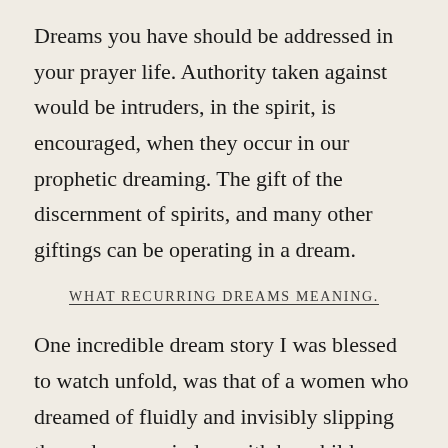Dreams you have should be addressed in your prayer life. Authority taken against would be intruders, in the spirit, is encouraged, when they occur in our prophetic dreaming. The gift of the discernment of spirits, and many other giftings can be operating in a dream.
WHAT RECURRING DREAMS MEANING.
One incredible dream story I was blessed to watch unfold, was that of a women who dreamed of fluidly and invisibly slipping through a car window with her children. She was being grievously persecuted, and threatened. As in her dream, her escape came to pass two days later, where she and